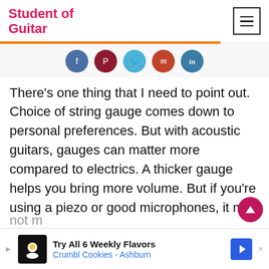Student of Guitar
[Figure (infographic): Social share buttons: Facebook, Pinterest, Twitter, Email, LinkedIn]
There’s one thing that I need to point out. Choice of string gauge comes down to personal preferences. But with acoustic guitars, gauges can matter more compared to electrics. A thicker gauge helps you bring more volume. But if you’re using a piezo or good microphones, it may not m…
[Figure (infographic): Advertisement banner: Try All 6 Weekly Flavors, Crumbl Cookies - Ashburn]